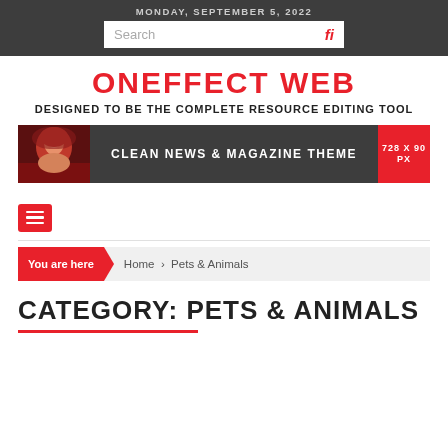MONDAY, SEPTEMBER 5, 2022
Search
ONEFFECT WEB
DESIGNED TO BE THE COMPLETE RESOURCE EDITING TOOL
[Figure (infographic): Banner with woman photo on left, dark center with text 'CLEAN NEWS & MAGAZINE THEME', red box on right with '728 X 90 PX']
[Figure (infographic): Red hamburger menu button with three white lines]
You are here   Home › Pets & Animals
CATEGORY: PETS & ANIMALS